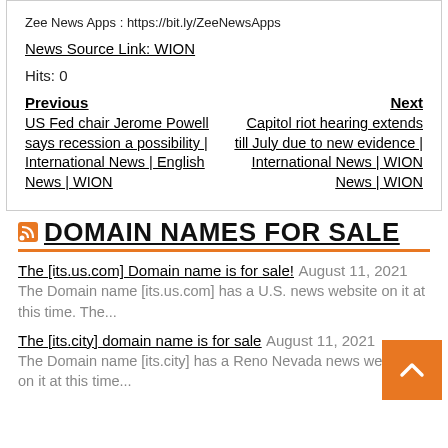Zee News Apps : https://bit.ly/ZeeNewsApps
News Source Link: WION
Hits: 0
Previous
US Fed chair Jerome Powell says recession a possibility | International News | English News | WION
Next
Capitol riot hearing extends till July due to new evidence | International News | WION News | WION
DOMAIN NAMES FOR SALE
The [its.us.com] Domain name is for sale!  August 11, 2021  The Domain name [its.us.com] has a U.S. news website on it at this time. The...
The [its.city] domain name is for sale  August 11, 2021  The Domain name [its.city] has a Reno Nevada news website on it at this time.